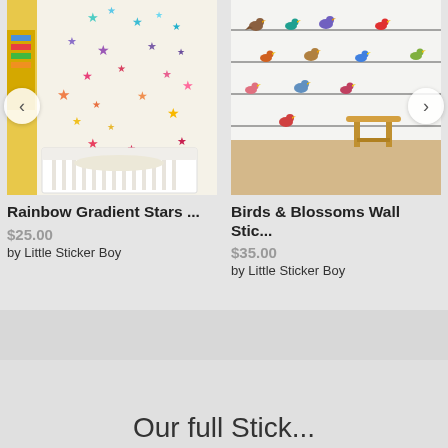[Figure (photo): Product image of Rainbow Gradient Stars wall stickers in a nursery room with a white crib and yellow wall accents]
Rainbow Gradient Stars ...
$25.00
by Little Sticker Boy
[Figure (photo): Product image of Birds & Blossoms Wall Stickers showing colorful birds sitting on lines/wires on a white wall with a wooden stool]
Birds & Blossoms Wall Stic...
$35.00
by Little Sticker Boy
Our full Stick...